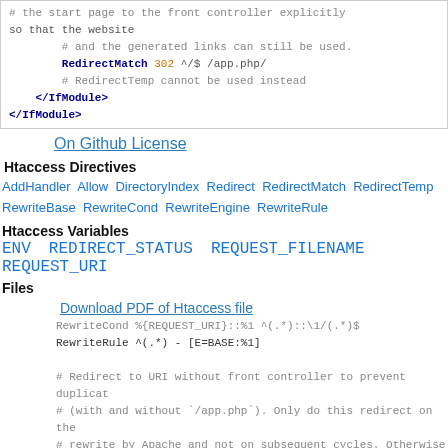[Figure (screenshot): Code block showing Apache .htaccess configuration with RedirectMatch directive and IfModule closing tags]
On Github License
Htaccess Directives
AddHandler Allow DirectoryIndex Redirect RedirectMatch RedirectTemp RewriteBase RewriteCond RewriteEngine RewriteRule
Htaccess Variables
ENV REDIRECT_STATUS REQUEST_FILENAME REQUEST_URI
Files
Download PDF of Htaccess file
[Figure (screenshot): Code block showing RewriteCond and RewriteRule directives and comments about redirect to URI without front controller]